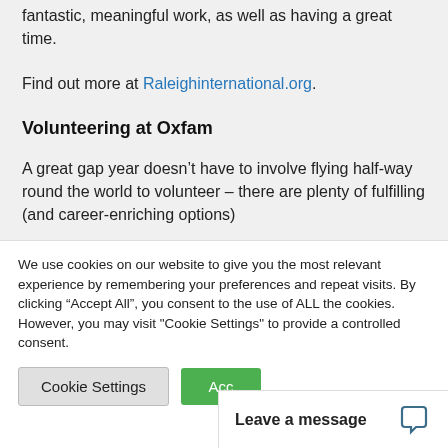fantastic, meaningful work, as well as having a great time.
Find out more at Raleighinternational.org.
Volunteering at Oxfam
A great gap year doesn’t have to involve flying half-way round the world to volunteer – there are plenty of fulfilling (and career-enriching options)
We use cookies on our website to give you the most relevant experience by remembering your preferences and repeat visits. By clicking “Accept All”, you consent to the use of ALL the cookies. However, you may visit "Cookie Settings" to provide a controlled consent.
Leave a message